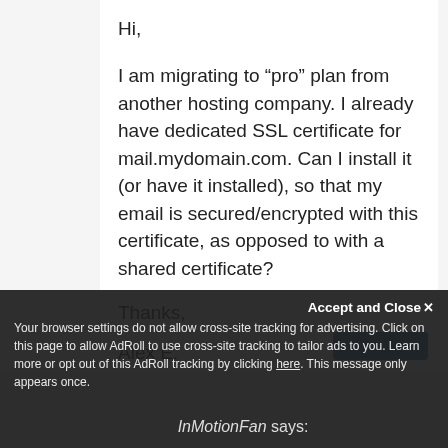Hi,
I am migrating to “pro” plan from another hosting company. I already have dedicated SSL certificate for mail.mydomain.com. Can I install it (or have it installed), so that my email is secured/encrypted with this certificate, as opposed to with a shared certificate?
Thanks,
Alex E.
Accept and Close
Your browser settings do not allow cross-site tracking for advertising. Click on this page to allow AdRoll to use cross-site tracking to tailor ads to you. Learn more or opt out of this AdRoll tracking by clicking here. This message only appears once.
InMotionFan says: